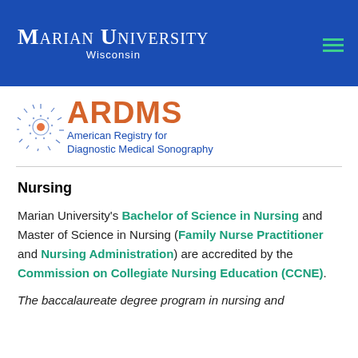Marian University Wisconsin
[Figure (logo): ARDMS logo with starburst icon and text: American Registry for Diagnostic Medical Sonography]
Nursing
Marian University's Bachelor of Science in Nursing and Master of Science in Nursing (Family Nurse Practitioner and Nursing Administration) are accredited by the Commission on Collegiate Nursing Education (CCNE).
The baccalaureate degree program in nursing and